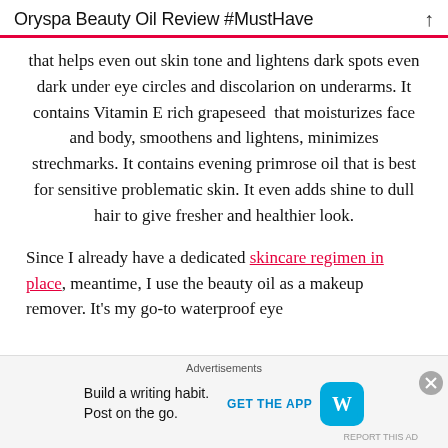Oryspa Beauty Oil Review #MustHave
that helps even out skin tone and lightens dark spots even dark under eye circles and discolarion on underarms. It contains Vitamin E rich grapeseed  that moisturizes face and body, smoothens and lightens, minimizes strechmarks. It contains evening primrose oil that is best for sensitive problematic skin. It even adds shine to dull hair to give fresher and healthier look.
Since I already have a dedicated skincare regimen in place, meantime, I use the beauty oil as a makeup remover. It's my go-to waterproof eye
[Figure (other): Advertisement banner for WordPress app: 'Build a writing habit. Post on the go.' with GET THE APP button and WordPress logo]